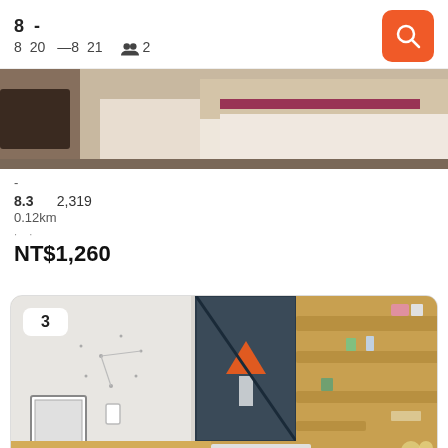8 - 8 20 — 8 21  2
[Figure (photo): Hotel room photo showing beds with red/maroon accents and wooden flooring]
-
8.3  2,319
0.12km
NT$1,260
[Figure (photo): Hotel lobby/reception area with wooden shelving, dark door, and reception counter. Badge showing '3' photos.]